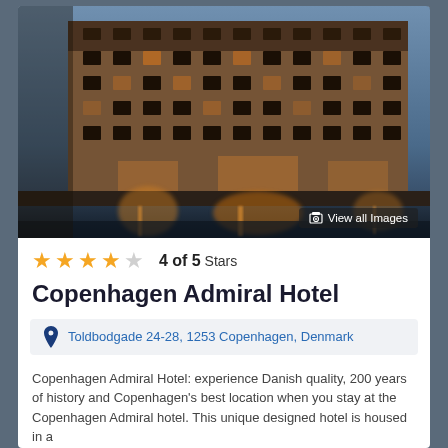[Figure (photo): Night photo of Copenhagen Admiral Hotel reflected in water, illuminated with warm golden lights against a dusky blue sky]
View all Images
4 of 5 Stars
Copenhagen Admiral Hotel
Toldbodgade 24-28, 1253 Copenhagen, Denmark
Copenhagen Admiral Hotel: experience Danish quality, 200 years of history and Copenhagen's best location when you stay at the Copenhagen Admiral hotel. This unique designed hotel is housed in a